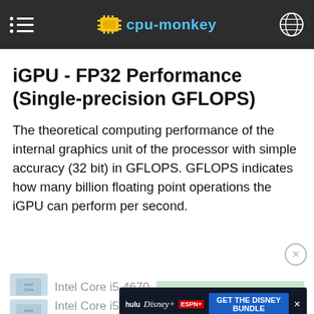cpu-monkey
iGPU - FP32 Performance (Single-precision GFLOPS)
The theoretical computing performance of the internal graphics unit of the processor with simple accuracy (32 bit) in GFLOPS. GFLOPS indicates how many billion floating point operations the iGPU can perform per second.
Intel Core i5-4670
Intel Core i5-6500